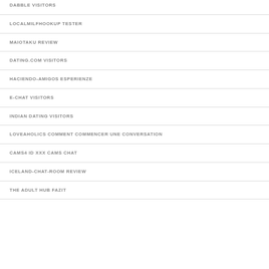DABBLE VISITORS
LOCALMILFHOOKUP TESTER
MAIOTAKU REVIEW
DATING.COM VISITORS
HACIENDO-AMIGOS ESPERIENZE
E-CHAT VISITORS
INDIAN DATING VISITORS
LOVEAHOLICS COMMENT COMMENCER UNE CONVERSATION
CAMS4 ID XXX CAMS CHAT
ICELAND-CHAT-ROOM REVIEW
THE ADULT HUB FAZIT